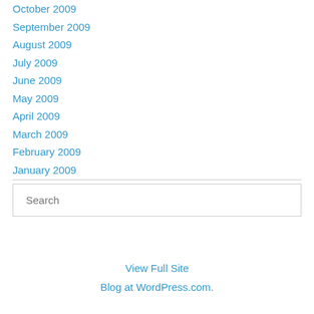October 2009
September 2009
August 2009
July 2009
June 2009
May 2009
April 2009
March 2009
February 2009
January 2009
Search
View Full Site
Blog at WordPress.com.